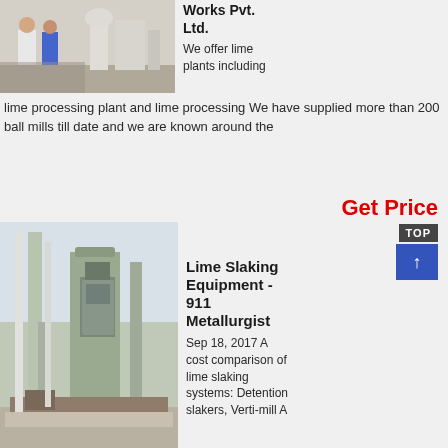[Figure (photo): Industrial facility interior with workers and equipment, lime processing plant]
Works Pvt. Ltd.
We offer lime plants including lime processing plant and lime processing We have supplied more than 200 ball mills till date and we are known around the
Get Price
[Figure (photo): Industrial lime slaking equipment facility with large silos and steel structures outdoors]
Lime Slaking Equipment - 911 Metallurgist
Sep 18, 2017 A cost comparison of lime slaking systems: Detention slakers, Verti-mill A